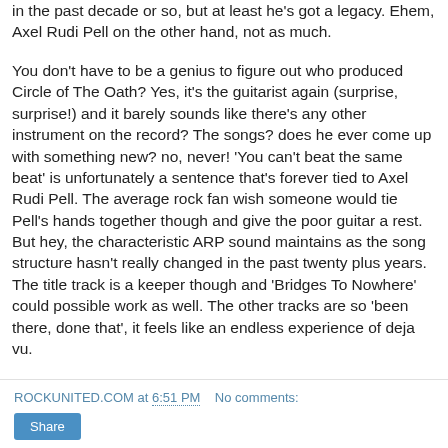in the past decade or so, but at least he's got a legacy. Ehem, Axel Rudi Pell on the other hand, not as much.
You don't have to be a genius to figure out who produced Circle of The Oath? Yes, it's the guitarist again (surprise, surprise!) and it barely sounds like there's any other instrument on the record? The songs? does he ever come up with something new? no, never! 'You can't beat the same beat' is unfortunately a sentence that's forever tied to Axel Rudi Pell. The average rock fan wish someone would tie Pell's hands together though and give the poor guitar a rest. But hey, the characteristic ARP sound maintains as the song structure hasn't really changed in the past twenty plus years. The title track is a keeper though and 'Bridges To Nowhere' could possible work as well. The other tracks are so 'been there, done that', it feels like an endless experience of deja vu.
ROCKUNITED.COM at 6:51 PM   No comments: